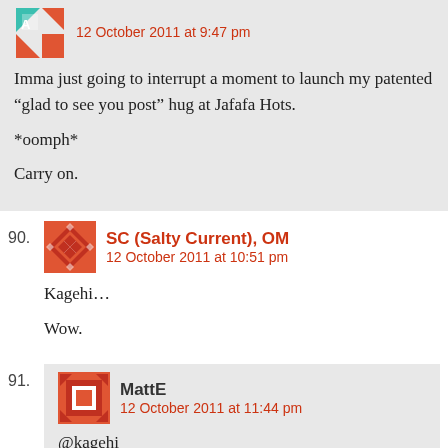[Figure (illustration): Avatar icon with teal/red geometric triangles pattern]
12 October 2011 at 9:47 pm
Imma just going to interrupt a moment to launch my patented “glad to see you post” hug at Jafafa Hots.

*oomph*

Carry on.
90.
[Figure (illustration): Avatar icon with red geometric diamond/cross pattern]
SC (Salty Current), OM
12 October 2011 at 10:51 pm
Kagehi…

Wow.
91.
[Figure (illustration): Avatar icon with red geometric square/diamond pattern]
MattE
12 October 2011 at 11:44 pm
@kagehi